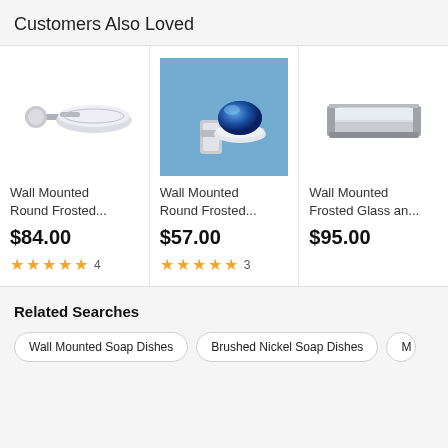Customers Also Loved
[Figure (photo): Wall mounted round frosted glass soap dish with chrome arm, product 1]
Wall Mounted Round Frosted...
$84.00
★★★★★ 4
[Figure (photo): Wall mounted round frosted glass soap dish with chrome holder and blue soap bar on blue background, product 2]
Wall Mounted Round Frosted...
$57.00
★★★★★ 3
[Figure (photo): Wall mounted frosted glass and chrome soap dish, product 3, partially cropped]
Wall Mounted Frosted Glass an...
$95.00
Related Searches
Wall Mounted Soap Dishes
Brushed Nickel Soap Dishes
M...